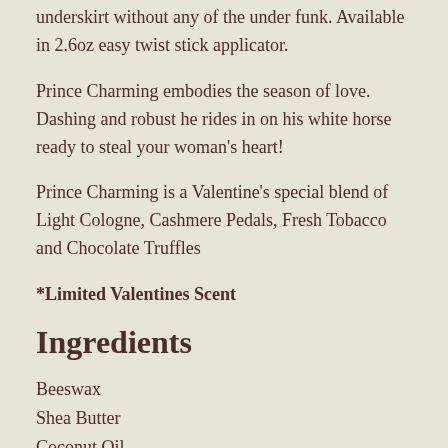underskirt without any of the under funk. Available in 2.6oz easy twist stick applicator.
Prince Charming embodies the season of love. Dashing and robust he rides in on his white horse ready to steal your woman's heart!
Prince Charming is a Valentine's special blend of Light Cologne, Cashmere Pedals, Fresh Tobacco and Chocolate Truffles
*Limited Valentines Scent
Ingredients
Beeswax
Shea Butter
Coconut Oil
Arrowroot Powder - Natural Anti Perspirant